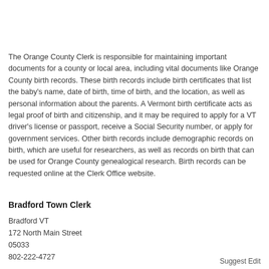The Orange County Clerk is responsible for maintaining important documents for a county or local area, including vital documents like Orange County birth records. These birth records include birth certificates that list the baby's name, date of birth, time of birth, and the location, as well as personal information about the parents. A Vermont birth certificate acts as legal proof of birth and citizenship, and it may be required to apply for a VT driver's license or passport, receive a Social Security number, or apply for government services. Other birth records include demographic records on birth, which are useful for researchers, as well as records on birth that can be used for Orange County genealogical research. Birth records can be requested online at the Clerk Office website.
Bradford Town Clerk
Bradford VT
172 North Main Street
05033
802-222-4727
Suggest Edit